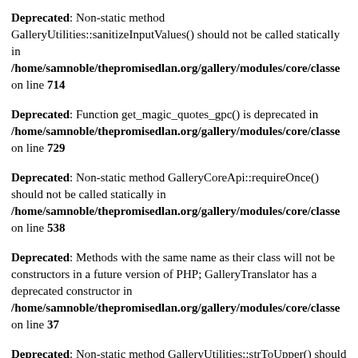Deprecated: Non-static method GalleryUtilities::sanitizeInputValues() should not be called statically in /home/samnoble/thepromisedlan.org/gallery/modules/core/classes on line 714
Deprecated: Function get_magic_quotes_gpc() is deprecated in /home/samnoble/thepromisedlan.org/gallery/modules/core/classes on line 729
Deprecated: Non-static method GalleryCoreApi::requireOnce() should not be called statically in /home/samnoble/thepromisedlan.org/gallery/modules/core/classes on line 538
Deprecated: Methods with the same name as their class will not be constructors in a future version of PHP; GalleryTranslator has a deprecated constructor in /home/samnoble/thepromisedlan.org/gallery/modules/core/classes on line 37
Deprecated: Non-static method GalleryUtilities::strToUpper() should not be called statically in /home/samnoble/thepromisedlan.org/gallery/modules/core/classes on line 418